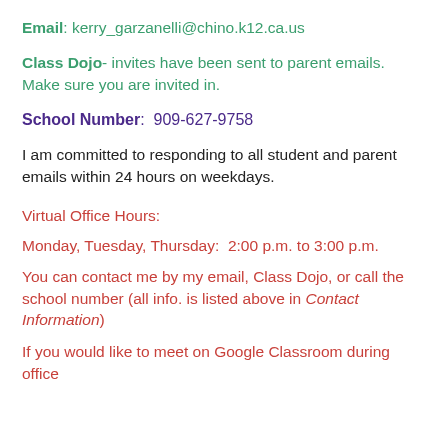Email: kerry_garzanelli@chino.k12.ca.us
Class Dojo- invites have been sent to parent emails.  Make sure you are invited in.
School Number:  909-627-9758
I am committed to responding to all student and parent emails within 24 hours on weekdays.
Virtual Office Hours:
Monday, Tuesday, Thursday:  2:00 p.m. to 3:00 p.m.
You can contact me by my email, Class Dojo, or call the school number (all info. is listed above in Contact Information)
If you would like to meet on Google Classroom during office